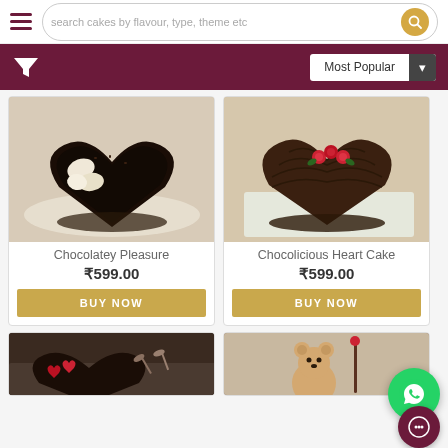[Figure (screenshot): Cake e-commerce website screenshot showing search bar with hamburger menu, filter bar with Most Popular sort, and product grid of heart-shaped chocolate cakes]
search cakes by flavour, type, theme etc
Most Popular
Chocolatey Pleasure
₹599.00
BUY NOW
Chocolicious Heart Cake
₹599.00
BUY NOW